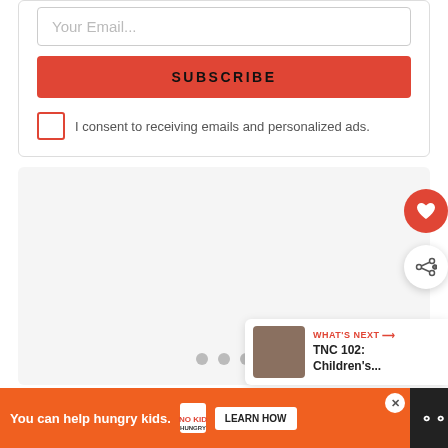Your Email...
SUBSCRIBE
I consent to receiving emails and personalized ads.
[Figure (screenshot): Carousel with gray dots pagination indicator, heart (favorite) button in red circle, share button in white circle with shadow, and WHAT'S NEXT card showing TNC 102: Children's... thumbnail]
WHAT'S NEXT → TNC 102: Children's...
You can help hungry kids.
LEARN HOW